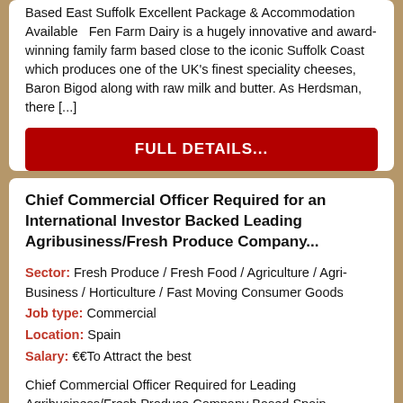Based East Suffolk Excellent Package & Accommodation Available   Fen Farm Dairy is a hugely innovative and award-winning family farm based close to the iconic Suffolk Coast which produces one of the UK's finest speciality cheeses, Baron Bigod along with raw milk and butter. As Herdsman, there [...]
FULL DETAILS...
Chief Commercial Officer Required for an International Investor Backed Leading Agribusiness/Fresh Produce Company...
Sector: Fresh Produce / Fresh Food / Agriculture / Agri-Business / Horticulture / Fast Moving Consumer Goods
Job type: Commercial
Location: Spain
Salary: €€To Attract the best
Chief Commercial Officer Required for Leading Agribusiness/Fresh Produce Company Based Spain